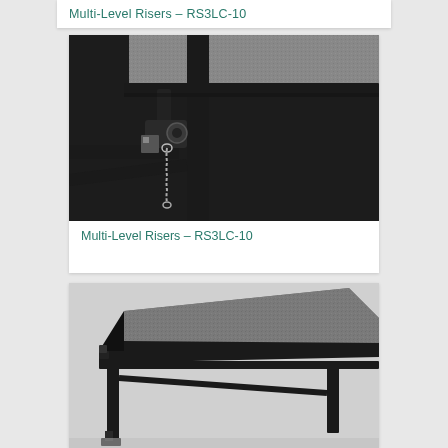Multi-Level Risers – RS3LC-10
[Figure (photo): Close-up photo of a multi-level riser bracket mechanism showing black metal frame with a chain lock/pin mechanism and grey carpeted deck surface]
Multi-Level Risers – RS3LC-10
[Figure (photo): Close-up photo of a portable stage platform section showing black frame with grey carpeted top surface and folding legs]